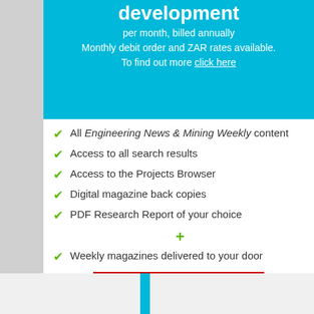development
per month, billed annually
Monthly debit order and ZAR rates available.
To find out more click here
All Engineering News & Mining Weekly content
Access to all search results
Access to the Projects Browser
Digital magazine back copies
PDF Research Report of your choice
Weekly magazines delivered to your door
Subscribe Now